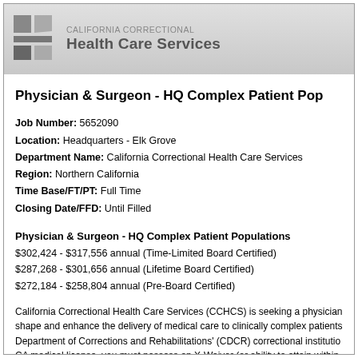CALIFORNIA CORRECTIONAL HEALTH CARE SERVICES
Physician & Surgeon - HQ Complex Patient Pop...
Job Number: 5652090
Location: Headquarters - Elk Grove
Department Name: California Correctional Health Care Services
Region: Northern California
Time Base/FT/PT: Full Time
Closing Date/FFD: Until Filled
Physician & Surgeon - HQ Complex Patient Populations
$302,424 - $317,556 annual (Time-Limited Board Certified)
$287,268 - $301,656 annual (Lifetime Board Certified)
$272,184 - $258,804 annual (Pre-Board Certified)
California Correctional Health Care Services (CCHCS) is seeking a physician to shape and enhance the delivery of medical care to clinically complex patients at Department of Corrections and Rehabilitations' (CDCR) correctional institutions. CA medical license, you must possess an X-Waiver (or ability to attain within...